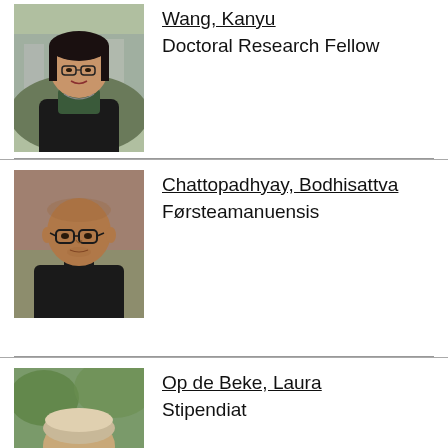[Figure (photo): Portrait photo of Wang, Kanyu - woman with black hair and glasses wearing a dark jacket and green turtleneck, outdoor background with buildings]
Wang, Kanyu
Doctoral Research Fellow
[Figure (photo): Portrait photo of Chattopadhyay, Bodhisattva - bald man with glasses wearing dark clothing, outdoor background]
Chattopadhyay, Bodhisattva
Førsteamanuensis
[Figure (photo): Portrait photo of Op de Beke, Laura - partial view, outdoor background with greenery]
Op de Beke, Laura
Stipendiat